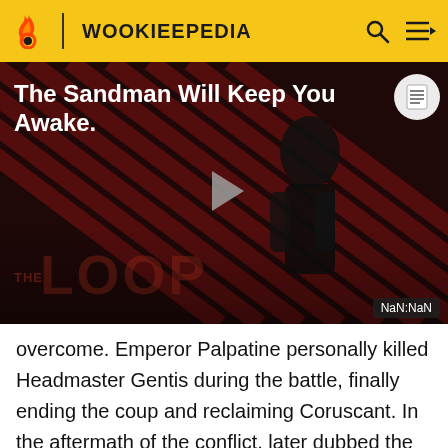WOOKIEEPEDIA
[Figure (screenshot): Video player thumbnail showing 'The Sandman Will Keep You Awake.' title with a dark figure in black against a diagonal striped red and black background. A play button is shown in the center. 'THE LOOP' text appears at the bottom. 'NaN:NaN' timestamp badge in bottom right corner.]
overcome. Emperor Palpatine personally killed Headmaster Gentis during the battle, finally ending the coup and reclaiming Coruscant. In the aftermath of the conflict, later dubbed the "Ghost Prison incident," the surviving conspirators were rounded up and executed by